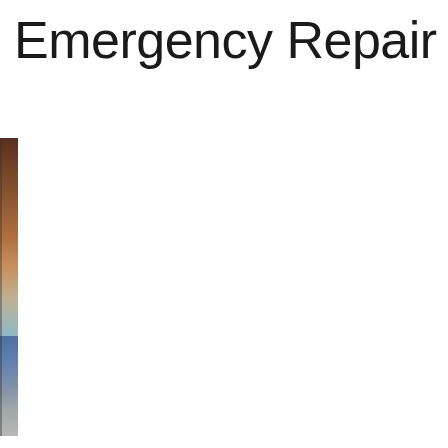Emergency Repair
[Figure (photo): Partial view of a photo strip along the left edge showing emergency repair imagery, partially cropped]